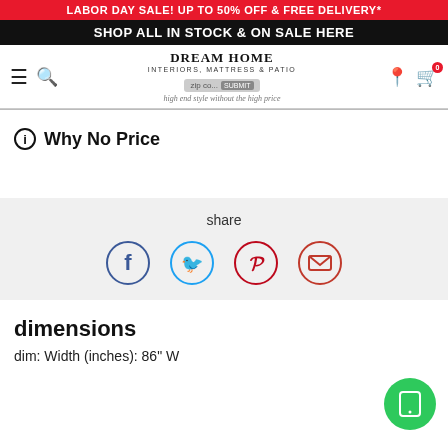LABOR DAY SALE! UP TO 50% OFF & FREE DELIVERY*
SHOP ALL IN STOCK & ON SALE HERE
[Figure (logo): Dream Home Interiors, Mattress & Patio logo with tagline 'high end style without the high price', navigation bar with menu, search, zip code input, location, and cart icons]
ⓘ Why No Price
share
[Figure (infographic): Social share buttons: Facebook (blue circle with f), Twitter (light blue circle with bird), Pinterest (red circle with P), Email (red circle with envelope)]
dimensions
dim: Width (inches): 86" W